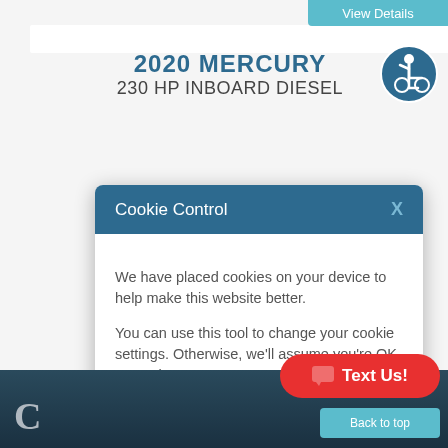View Details
2020 MERCURY
230 HP INBOARD DIESEL
[Figure (illustration): Circular accessibility/disability icon with blue background and white person-in-wheelchair symbol]
[Figure (photo): Mercury 230 HP inboard diesel engine, mechanical components visible]
Cookie Control X

We have placed cookies on your device to help make this website better.

You can use this tool to change your cookie settings. Otherwise, we'll assume you're OK to continue.

I'm fine with this

Information and Settings
About our cookies
View Details
Text Us!
Back to top
C